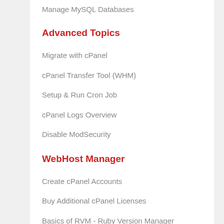Manage MySQL Databases
Advanced Topics
Migrate with cPanel
cPanel Transfer Tool (WHM)
Setup & Run Cron Job
cPanel Logs Overview
Disable ModSecurity
WebHost Manager
Create cPanel Accounts
Buy Additional cPanel Licenses
Basics of RVM - Ruby Version Manager
How To Setup Node.js App in cPanel